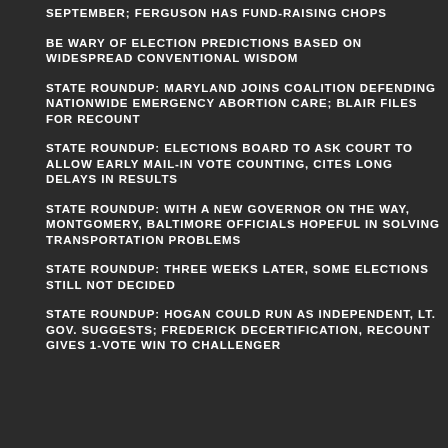SEPTEMBER; FERGUSON HAS FUND-RAISING CHOPS
BE WARY OF ELECTION PREDICTIONS BASED ON WIDESPREAD CONVENTIONAL WISDOM
STATE ROUNDUP: MARYLAND JOINS COALITION DEFENDING NATIONWIDE EMERGENCY ABORTION CARE; BLAIR FILES FOR RECOUNT
STATE ROUNDUP: ELECTIONS BOARD TO ASK COURT TO ALLOW EARLY MAIL-IN VOTE COUNTING, CITES LONG DELAYS IN RESULTS
STATE ROUNDUP: WITH A NEW GOVERNOR ON THE WAY, MONTGOMERY, BALTIMORE OFFICIALS HOPEFUL IN SOLVING TRANSPORTATION PROBLEMS
STATE ROUNDUP: THREE WEEKS LATER, SOME ELECTIONS STILL NOT DECIDED
STATE ROUNDUP: HOGAN COULD RUN AS INDEPENDENT, LT. GOV. SUGGESTS; FREDERICK DECERTIFICATION, RECOUNT GIVES 1-VOTE WIN TO CHALLENGER